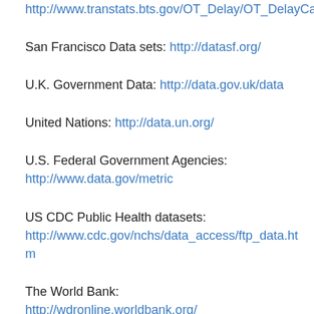http://www.transtats.bts.gov/OT_Delay/OT_DelayCause1.asp
San Francisco Data sets: http://datasf.org/
U.K. Government Data: http://data.gov.uk/data
United Nations: http://data.un.org/
U.S. Federal Government Agencies: http://www.data.gov/metric
US CDC Public Health datasets: http://www.cdc.gov/nchs/data_access/ftp_data.htm
The World Bank: http://wdronline.worldbank.org/